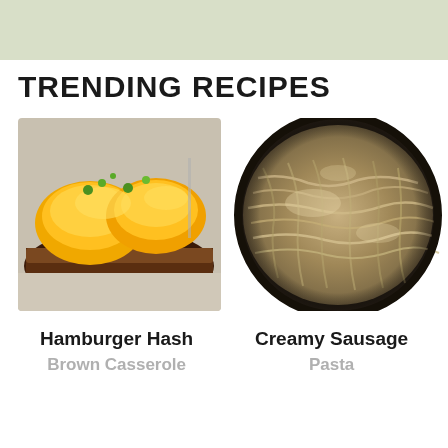[Figure (illustration): Light sage green banner at the top of the page]
TRENDING RECIPES
[Figure (photo): Close-up photo of Hamburger Hash Brown Casserole — a serving of ground beef topped with shredded hash browns and melted orange cheddar cheese, garnished with green onions, on a plate with a fork visible in the background]
[Figure (photo): Close-up photo of Creamy Sausage Pasta in a dark cast iron skillet — egg noodles tossed with sausage in a creamy beige sauce, viewed from above]
Hamburger Hash Brown Casserole
Creamy Sausage Pasta